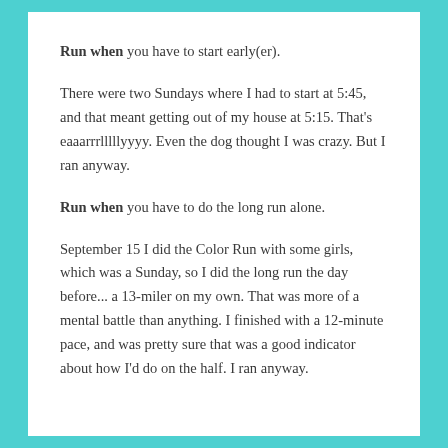Run when you have to start early(er).
There were two Sundays where I had to start at 5:45, and that meant getting out of my house at 5:15. That's eaaarrrlllllyyyy. Even the dog thought I was crazy. But I ran anyway.
Run when you have to do the long run alone.
September 15 I did the Color Run with some girls, which was a Sunday, so I did the long run the day before... a 13-miler on my own. That was more of a mental battle than anything. I finished with a 12-minute pace, and was pretty sure that was a good indicator about how I'd do on the half. I ran anyway.